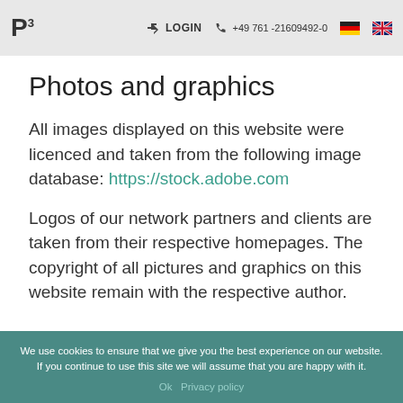P³ LOGIN +49 761 -21609492-0
Photos and graphics
All images displayed on this website were licenced and taken from the following image database: https://stock.adobe.com
Logos of our network partners and clients are taken from their respective homepages. The copyright of all pictures and graphics on this website remain with the respective author.
We use cookies to ensure that we give you the best experience on our website. If you continue to use this site we will assume that you are happy with it. Ok   Privacy policy